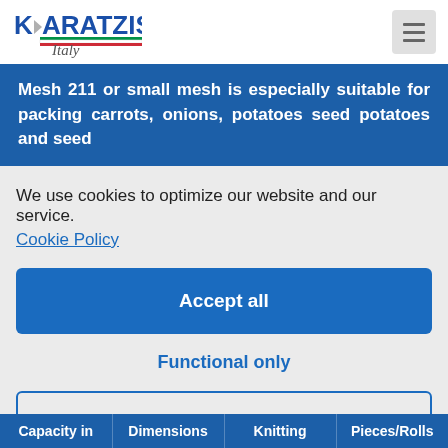[Figure (logo): Karatzis Italy company logo with stylized K and Italian flag colors]
Mesh 211 or small mesh is especially suitable for packing carrots, onions, potatoes seed potatoes and seed
We use cookies to optimize our website and our service.
Cookie Policy
Accept all
Functional only
View preferences
| Capacity in | Dimensions | Knitting | Pieces/Rolls |
| --- | --- | --- | --- |